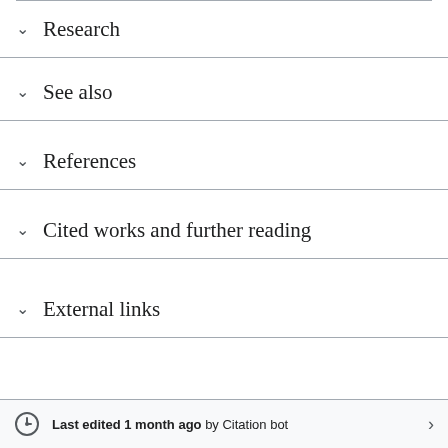Research
See also
References
Cited works and further reading
External links
Last edited 1 month ago by Citation bot